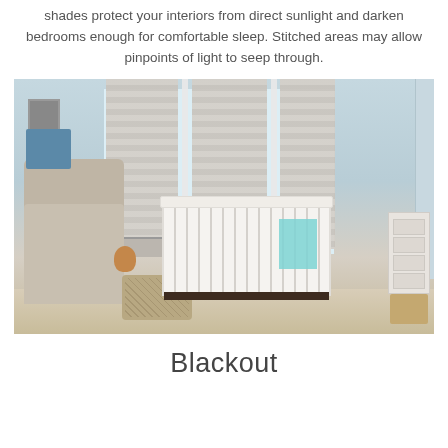shades protect your interiors from direct sunlight and darken bedrooms enough for comfortable sleep. Stitched areas may allow pinpoints of light to seep through.
[Figure (photo): A baby nursery room with patterned roman shades covering a large window, a white crib with a teal blanket, a beige armchair with a blue cushion, an ottomanoven, a dresser, and wooden floor.]
Blackout